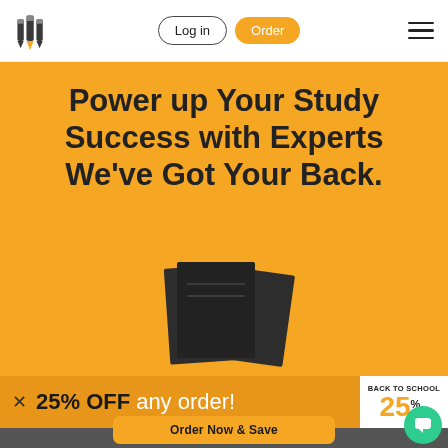Logo | Log in | Order | Menu
Power up Your Study Success with Experts We've Got Your Back.
[Figure (illustration): Dark gray stacked notebook/paper pages icon on orange background]
✕  25% OFF any order!  BACK TO SCHOOL 25% OFF
Order Now & Save